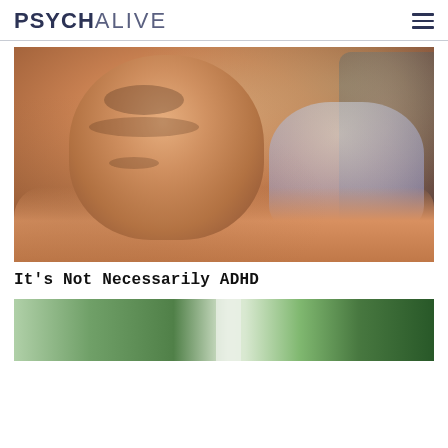PSYCHALIVE
[Figure (photo): Young boy with brown hair resting his head on his arms on a table, looking sad or tired, wearing a light purple shirt, with a blurred outdoor background]
It's Not Necessarily ADHD
[Figure (photo): Partial view of a second article image showing green foliage/trees]